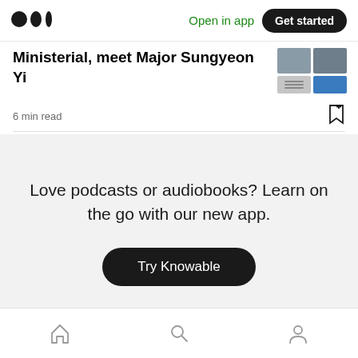Medium logo | Open in app | Get started
Ministerial, meet Major Sungyeon Yi
6 min read
Love podcasts or audiobooks? Learn on the go with our new app.
Try Knowable
Home | Search | Profile